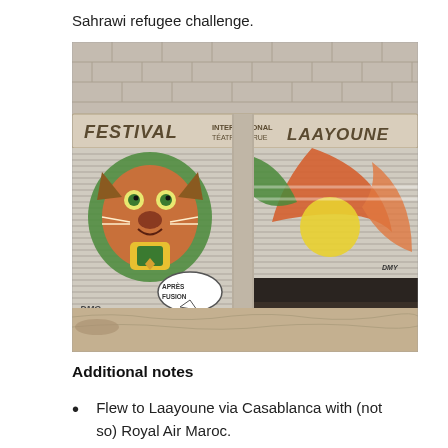Sahrawi refugee challenge.
[Figure (photo): Street art / graffiti on a metal roller shutter door. A sign above reads 'FESTIVAL INTERNATIONAL TÉATRE DE RUE LAAYOUNE'. The left shutter panel shows a colorful cartoon lion face in green, orange, yellow and brown. The right panel shows abstract shapes in orange, green, yellow. Below the lion face is graffiti text 'DMC...' and a speech bubble reading 'APRÈS FUSION'. The setting is a dusty street with concrete block walls.]
Additional notes
Flew to Laayoune via Casablanca with (not so) Royal Air Maroc.